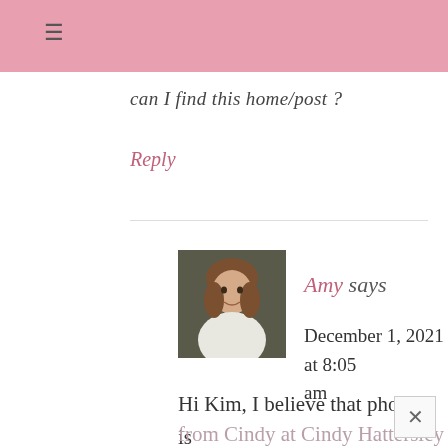≡
can I find this home/post ?
Reply
[Figure (photo): Avatar photo of Amy, a woman with brown hair wearing a white top, against a dark background]
Amy says
December 1, 2021 at 8:05 am
Hi Kim, I believe that photo is from Cindy at Cindy Hattersley design, it likely came from...